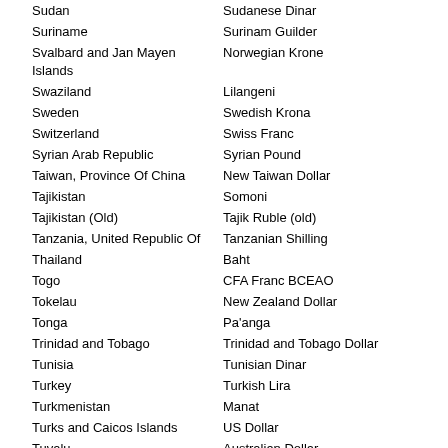| Country | Currency |
| --- | --- |
| Sudan | Sudanese Dinar |
| Suriname | Surinam Guilder |
| Svalbard and Jan Mayen Islands | Norwegian Krone |
| Swaziland | Lilangeni |
| Sweden | Swedish Krona |
| Switzerland | Swiss Franc |
| Syrian Arab Republic | Syrian Pound |
| Taiwan, Province Of China | New Taiwan Dollar |
| Tajikistan | Somoni |
| Tajikistan (Old) | Tajik Ruble (old) |
| Tanzania, United Republic Of | Tanzanian Shilling |
| Thailand | Baht |
| Togo | CFA Franc BCEAO |
| Tokelau | New Zealand Dollar |
| Tonga | Pa'anga |
| Trinidad and Tobago | Trinidad and Tobago Dollar |
| Tunisia | Tunisian Dinar |
| Turkey | Turkish Lira |
| Turkmenistan | Manat |
| Turks and Caicos Islands | US Dollar |
| Tuvalu | Australian Dollar |
| Uganda | Uganda Shilling |
| Ukraine | Hryvnia |
| United Arab Emirates | UAE Dirham |
| United Kingdom | Pound Sterling |
| United States | US Dollar |